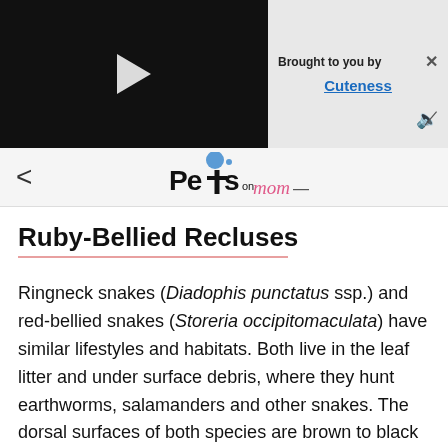[Figure (screenshot): Video player with black background and white play button triangle]
Brought to you by
Cuteness
[Figure (logo): Pets on Mom logo with blue circle and stylized pet/person icon]
Ruby-Bellied Recluses
Ringneck snakes (Diadophis punctatus ssp.) and red-bellied snakes (Storeria occipitomaculata) have similar lifestyles and habitats. Both live in the leaf litter and under surface debris, where they hunt earthworms, salamanders and other snakes. The dorsal surfaces of both species are brown to black and unmarked, except for a ring or light-colored markings near the neck.